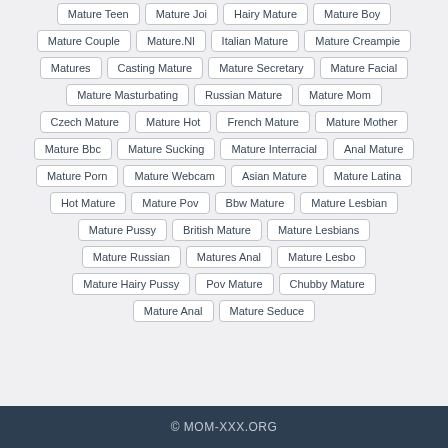Mature Teen
Mature Joi
Hairy Mature
Mature Boy
Mature Couple
Mature.Nl
Italian Mature
Mature Creampie
Matures
Casting Mature
Mature Secretary
Mature Facial
Mature Masturbating
Russian Mature
Mature Mom
Czech Mature
Mature Hot
French Mature
Mature Mother
Mature Bbc
Mature Sucking
Mature Interracial
Anal Mature
Mature Porn
Mature Webcam
Asian Mature
Mature Latina
Hot Mature
Mature Pov
Bbw Mature
Mature Lesbian
Mature Pussy
British Mature
Mature Lesbians
Mature Russian
Matures Anal
Mature Lesbo
Mature Hairy Pussy
Pov Mature
Chubby Mature
Mature Anal
Mature Seduce
© MOM-XXX.ORG